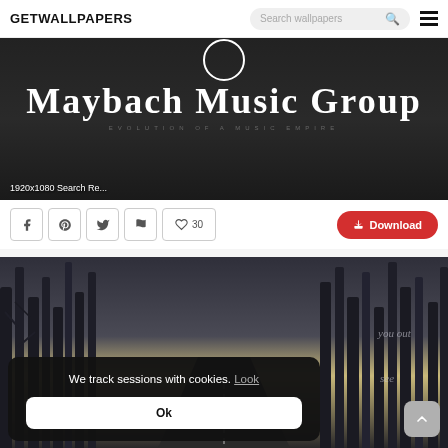GETWALLPAPERS  Search wallpapers  ☰
[Figure (screenshot): Maybach Music Group wallpaper with logo text on dark background, labeled 1920x1080 Search Re...]
1920x1080 Search Re...
f  p  t  ⚑  ♡ 30  ↓ Download
[Figure (screenshot): Dark forest road wallpaper with bare winter trees and misty sky, partially visible text 'you out' and 'see'. Cookie consent popup overlaid on lower left reading 'We track sessions with cookies. Look' and an Ok button. Scroll-to-top button on lower right.]
We track sessions with cookies. Look
Ok